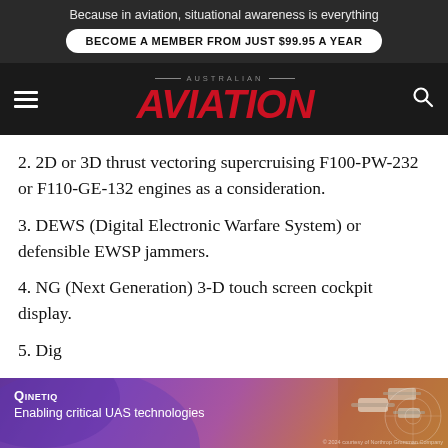Because in aviation, situational awareness is everything
BECOME A MEMBER FROM JUST $99.95 A YEAR
AUSTRALIAN AVIATION
2. 2D or 3D thrust vectoring supercruising F100-PW-232 or F110-GE-132 engines as a consideration.
3. DEWS (Digital Electronic Warfare System) or defensible EWSP jammers.
4. NG (Next Generation) 3-D touch screen cockpit display.
5. Dig
[Figure (infographic): QinetiQ advertisement banner: purple/violet to brown gradient background with drone/UAS imagery and text 'QINETIQ - Enabling critical UAS technologies']